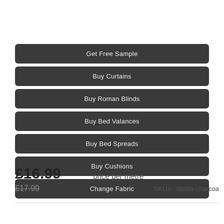Get Free Sample
Buy Curtains
Buy Roman Blinds
Buy Bed Valances
Buy Bed Spreads
Buy Cushions
Change Fabric
£16.99  price per metre
£17.99  SKU#:  danila-charcoa